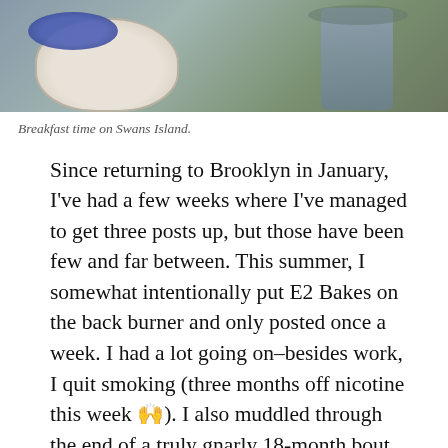[Figure (photo): Top portion of a photo showing breakfast items including a bowl and a glass/cup on a table, on Swans Island.]
Breakfast time on Swans Island.
Since returning to Brooklyn in January, I've had a few weeks where I've managed to get three posts up, but those have been few and far between. This summer, I somewhat intentionally put E2 Bakes on the back burner and only posted once a week. I had a lot going on–besides work, I quit smoking (three months off nicotine this week 🙌). I also muddled through the end of a truly gnarly 18-month bout of depression. Maybe that's too personal for a food blog, but it's what happened. When my brain fog finally (finally) started to clear in the middle of August, I made some changes in the name of self-care.
Advertisements
[Figure (screenshot): WordPress Hosting advertisement banner with a P logo on the left and 'WORDPRESS HOSTING THAT MEANS BUSINESS' text, and an OPEN sign on the right.]